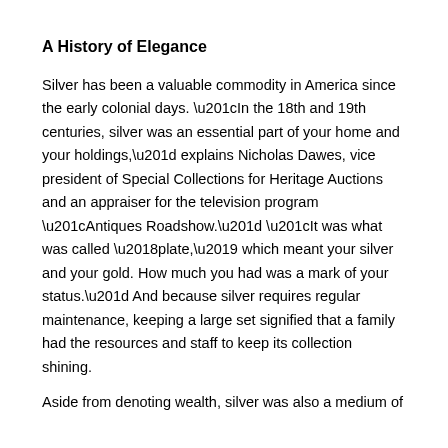A History of Elegance
Silver has been a valuable commodity in America since the early colonial days. “In the 18th and 19th centuries, silver was an essential part of your home and your holdings,” explains Nicholas Dawes, vice president of Special Collections for Heritage Auctions and an appraiser for the television program “Antiques Roadshow.” “It was what was called ‘plate,’ which meant your silver and your gold. How much you had was a mark of your status.” And because silver requires regular maintenance, keeping a large set signified that a family had the resources and staff to keep its collection shining.
Aside from denoting wealth, silver was also a medium of